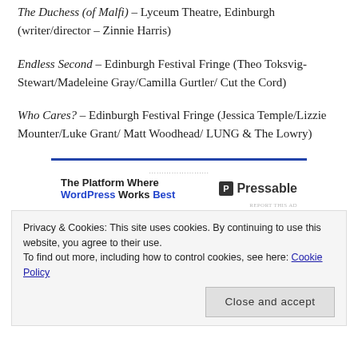The Duchess (of Malfi) – Lyceum Theatre, Edinburgh (writer/director – Zinnie Harris)
Endless Second – Edinburgh Festival Fringe (Theo Toksvig-Stewart/Madeleine Gray/Camilla Gurtler/ Cut the Cord)
Who Cares? – Edinburgh Festival Fringe (Jessica Temple/Lizzie Mounter/Luke Grant/ Matt Woodhead/ LUNG & The Lowry)
[Figure (other): Advertisement banner for Pressable: 'The Platform Where WordPress Works Best' with Pressable logo]
Shine – Edinburgh Festival Fringe (Olivier Leclair/Tiia-Mari
Privacy & Cookies: This site uses cookies. By continuing to use this website, you agree to their use. To find out more, including how to control cookies, see here: Cookie Policy
Close and accept